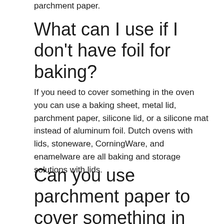parchment paper.
What can I use if I don't have foil for baking?
If you need to cover something in the oven you can use a baking sheet, metal lid, parchment paper, silicone lid, or a silicone mat instead of aluminum foil. Dutch ovens with lids, stoneware, CorningWare, and enamelware are all baking and storage solutions with lids.
Can you use parchment paper to cover something in the oven?